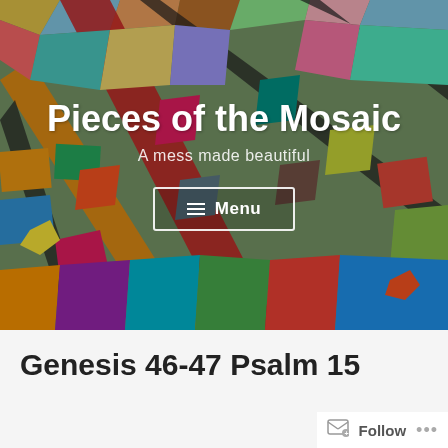[Figure (illustration): Colorful stained glass / mosaic background image covering the header area with abstract geometric shapes in many colors including red, blue, green, yellow, orange, pink, and teal, with dark grout lines between the pieces.]
Pieces of the Mosaic
A mess made beautiful
≡ Menu
Genesis 46-47 Psalm 15
Follow